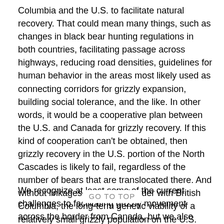Columbia and the U.S. to facilitate natural recovery. That could mean many things, such as changes in black bear hunting regulations in both countries, facilitating passage across highways, reducing road densities, guidelines for human behavior in the areas most likely used as connecting corridors for grizzly expansion, building social tolerance, and the like. In other words, it would be a cooperative plan between the U.S. and Canada for grizzly recovery. If this kind of cooperation can't be obtained, then grizzly recovery in the U.S. portion of the North Cascades is likely to fail, regardless of the number of bears that are translocated there. And without linkages across the border with British Columbia, the long-term genetic viability of a relatively small grizzly population on the U.S. side of the border would also be at risk.
We recognize at least some of the current challenges to facilitating grizzly movement across the border from Canada, but we also believe it is imperative for the NPS to rigorously study, analyze, and disclose such an alternative. Sometimes grizzlies can confound even the experts. Twenty years ago, for example, the U.S. Fish and Wildlife Service proposed [something] after the election of George W. Bush) to reintro[duce grizzlies] into the Selway-Bitterroot Wilderness...